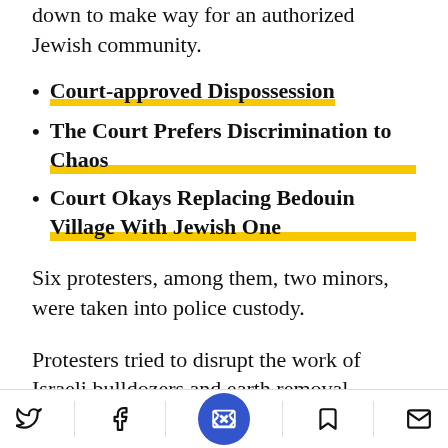down to make way for an authorized Jewish community.
Court-approved Dispossession
The Court Prefers Discrimination to Chaos
Court Okays Replacing Bedouin Village With Jewish One
Six protesters, among them, two minors, were taken into police custody.
Protesters tried to disrupt the work of Israeli bulldozers and earth removal equipment which began digging under close to the
Social sharing icons: Twitter, Facebook, bookmark, email